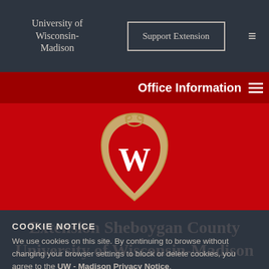University of Wisconsin-Madison
Office Information
[Figure (logo): University of Wisconsin-Madison W crest logo on red background]
COOKIE NOTICE
We use cookies on this site. By continuing to browse without changing your browser settings to block or delete cookies, you agree to the UW - Madison Privacy Notice.
GOT IT!